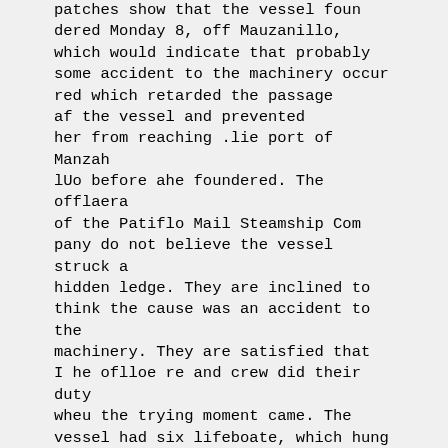patches show that the vessel foun dered Monday 8, off Mauzanillo, which would indicate that probably some accident to the machinery occur red which retarded the passage af the vessel and prevented her from reaching .lie port of Manzah lUo before ahe foundered. The offlaera of the Patiflo Mail Steamship Com pany do not believe the vessel struck a hidden ledge. They are inclined to think the cause was an accident to the machinery. They are satisfied that I he oflloe re and crew did their duty wheu the trying moment came. The vessel had six lifeboate, which hung from davits, ready to be launched at a moment's notice; and it is thought that all of those could have been launched, no matter how rapidly the vessel sank.
She carried about 2000 tons of cargo, valued at $103,000. .
How They Saved Him.
Tho Port Orford Tribuno hao this